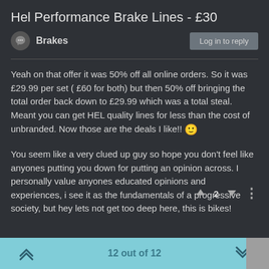Hel Performance Brake Lines - £30
Brakes
Yeah on that offer it was 50% off all online orders. So it was £29.99 per set ( £60 for both) but then 50% off bringing the total order back down to £29.99 which was a total steal. Meant you can get HEL quality lines for less than the cost of unbranded. Now those are the deals I like!! 🙂
You seem like a very clued up guy so hope you don't feel like anyones putting you down for putting an opinion across. I personally value anyones educated opinions and experiences, i see it as the fundamentals of a progressive society, but hey lets not get too deep here, this is bikes!
12 out of 12